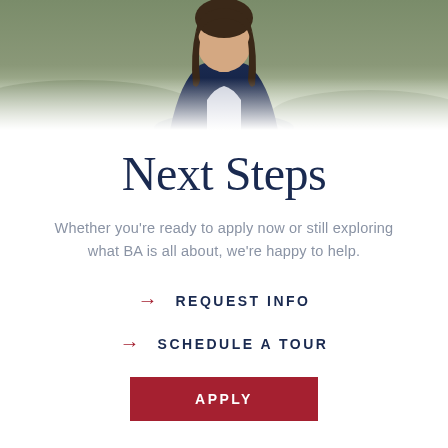[Figure (photo): Partial photo of a person wearing a dark navy blazer and light grey shirt, cropped at the upper body, with a green outdoor background.]
Next Steps
Whether you’re ready to apply now or still exploring what BA is all about, we’re happy to help.
→ REQUEST INFO
→ SCHEDULE A TOUR
APPLY